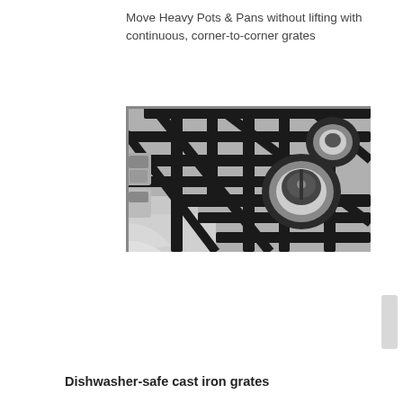Move Heavy Pots & Pans without lifting with continuous, corner-to-corner grates
[Figure (photo): Close-up black and white photograph of a gas stovetop showing cast iron grates, burner heads, and stainless steel surface with control knobs visible on the left side.]
Dishwasher-safe cast iron grates